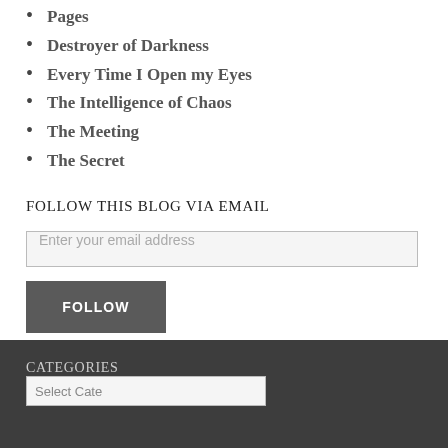Pages
Destroyer of Darkness
Every Time I Open my Eyes
The Intelligence of Chaos
The Meeting
The Secret
FOLLOW THIS BLOG VIA EMAIL
Enter your email address
FOLLOW
CATEGORIES
Select Category